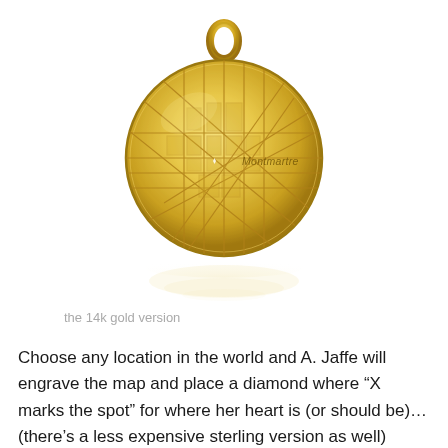[Figure (photo): A gold coin-shaped pendant necklace with a engraved street map of Montmartre, Paris. The circular gold disc has a bail (loop) at the top for a chain. The map shows streets and blocks with the label 'Montmartre' engraved on it. The pendant casts a soft reflection below it on a white background.]
the 14k gold version
Choose any location in the world and A. Jaffe will engrave the map and place a diamond where “X marks the spot” for where her heart is (or should be)…(there’s a less expensive sterling version as well)